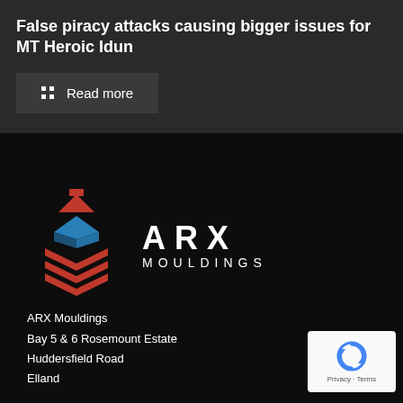False piracy attacks causing bigger issues for MT Heroic Idun
Read more
[Figure (logo): ARX Mouldings logo with geometric diamond/chevron shape in red and blue, with text ARX MOULDINGS]
ARX Mouldings
Bay 5 & 6 Rosemount Estate
Huddersfield Road
Elland
[Figure (other): Google reCAPTCHA badge with Privacy - Terms links]